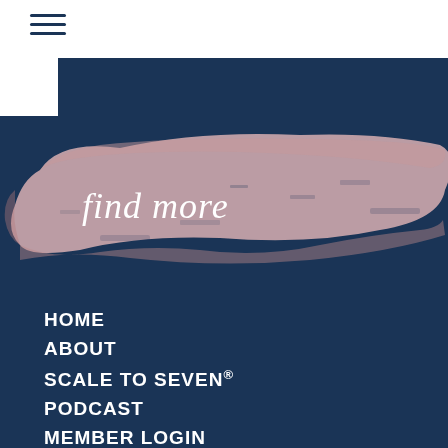[Figure (illustration): Pink watercolor/brush stroke across a dark navy background with cursive white text 'find more' overlaid on the stroke]
HOME
ABOUT
SCALE TO SEVEN®
PODCAST
MEMBER LOGIN
TOOLS & TEMPLATES
MEDIA
CONTACT